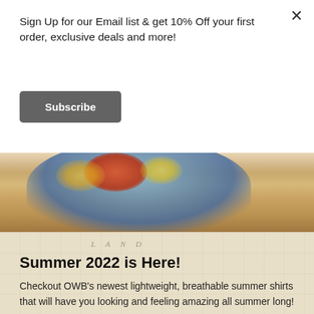Sign Up for our Email list & get 10% Off your first order, exclusive deals and more!
Subscribe
[Figure (photo): Close-up of a person wearing a colorful floral Hawaiian-style shirt in blue, red, and yellow tones, with a warm sandy/golden background.]
Summer 2022 is Here!
Checkout OWB's newest lightweight, breathable summer shirts that will have you looking and feeling amazing all summer long!
We've also brought back some classic OWB styles folks have been dying to see again.
It's going to be an awesome summer and we're stoked to help